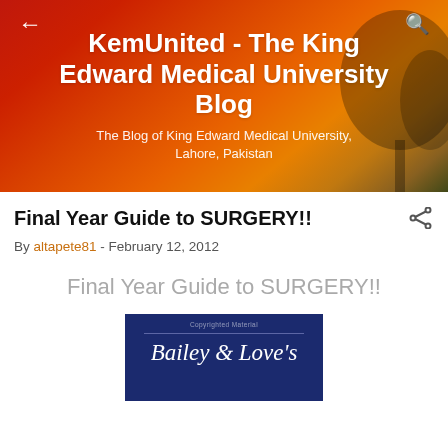KemUnited - The King Edward Medical University Blog
The Blog of King Edward Medical University, Lahore, Pakistan
Final Year Guide to SURGERY!!
By altapete81 - February 12, 2012
Final Year Guide to SURGERY!!
[Figure (photo): Cover of Bailey & Love's surgery textbook, dark blue background with white italic text reading 'Bailey & Love's', with a thin horizontal line and 'Copyrighted Material' notice at the top.]